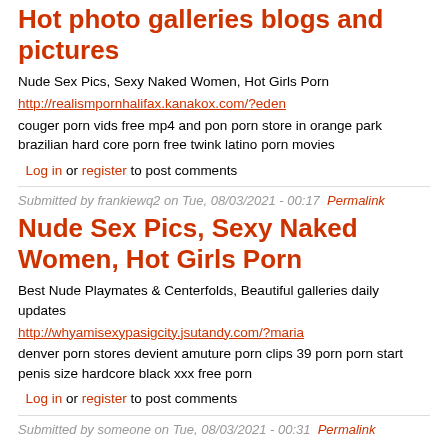Hot photo galleries blogs and pictures
Nude Sex Pics, Sexy Naked Women, Hot Girls Porn
http://realismpornhalifax.kanakox.com/?eden
couger porn vids free mp4 and pon porn store in orange park brazilian hard core porn free twink latino porn movies
Log in or register to post comments
Submitted by frankiewq2 on Tue, 08/03/2021 - 00:17 Permalink
Nude Sex Pics, Sexy Naked Women, Hot Girls Porn
Best Nude Playmates & Centerfolds, Beautiful galleries daily updates
http://whyamisexypasigcity.jsutandy.com/?maria
denver porn stores devient amuture porn clips 39 porn porn start penis size hardcore black xxx free porn
Log in or register to post comments
Submitted by someone on Tue, 08/03/2021 - 00:31 Permalink